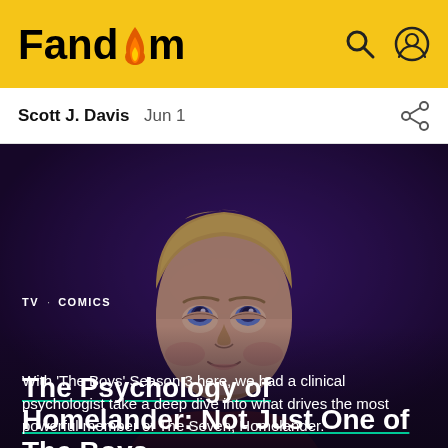Fandom
Scott J. Davis  Jun 1
[Figure (photo): Dark purple-toned photo of a blond male character (Homelander) looking upward against a dark background]
TV · COMICS
The Psychology of Homelander: Not Just One of The Boys
With 'The Boys' Season 3 here, we had a clinical psychologist take a deep dive into what drives the most powerful member of The Seven, Homelander.